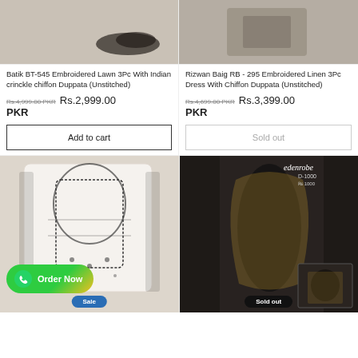[Figure (photo): Product image for Batik BT-545 with Sale badge]
[Figure (photo): Product image for Rizwan Baig RB-295 with Sold out badge]
Batik BT-545 Embroidered Lawn 3Pc With Indian crinckle chiffon Duppata (Unstitched)
Rizwan Baig RB - 295 Embroidered Linen 3Pc Dress With Chiffon Duppata (Unstitched)
Rs.4,999.00 PKR  Rs.2,999.00 PKR
Rs.4,699.00 PKR  Rs.3,399.00 PKR
Add to cart
Sold out
[Figure (photo): White and black embroidered fabric/dress with Sale badge and Order Now WhatsApp button]
[Figure (photo): Edenrobe black dress with golden dupatta, D-1000 label, with Sold out badge]